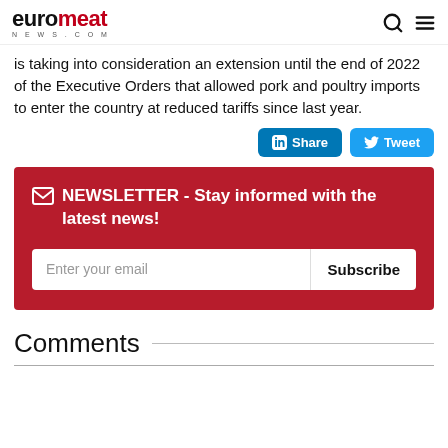euromeat NEWS.COM
is taking into consideration an extension until the end of 2022 of the Executive Orders that allowed pork and poultry imports to enter the country at reduced tariffs since last year.
Share | Tweet
✉ NEWSLETTER - Stay informed with the latest news!
Enter your email | Subscribe
Comments